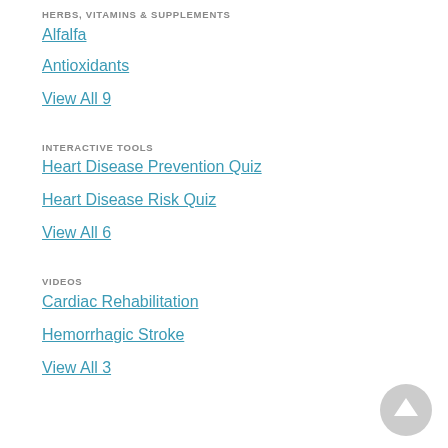HERBS, VITAMINS & SUPPLEMENTS
Alfalfa
Antioxidants
View All 9
INTERACTIVE TOOLS
Heart Disease Prevention Quiz
Heart Disease Risk Quiz
View All 6
VIDEOS
Cardiac Rehabilitation
Hemorrhagic Stroke
View All 3